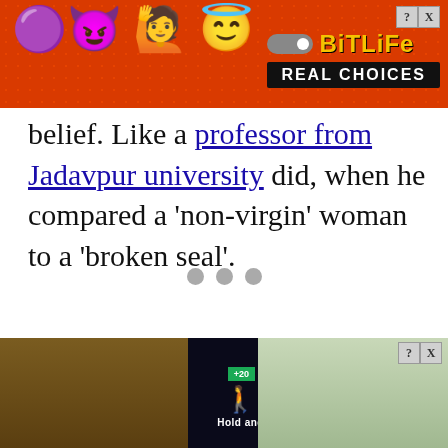[Figure (screenshot): BitLife app advertisement banner with orange-red background, emoji characters (devil, person, angel face), BitLife logo in yellow, and 'REAL CHOICES' text in white on black bar]
belief. Like a professor from Jadavpur university did, when he compared a 'non-virgin' woman to a 'broken seal'.
[Figure (other): Three grey loading dots centered on the page]
Furthe
rom
[Figure (screenshot): Bottom advertisement showing a mobile game 'Hold and Move' with dark game screen, score displays, and tree background on right side]